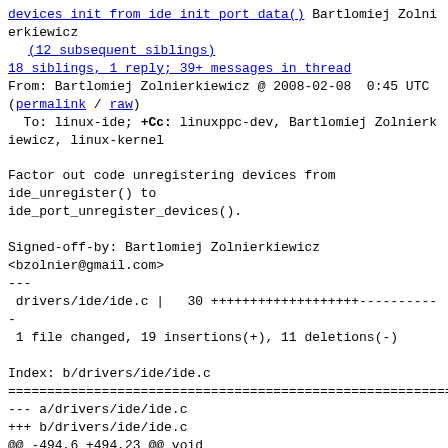devices init from ide init port data() Bartlomiej Zolnierkiewicz
(12 subsequent siblings)
18 siblings, 1 reply; 39+ messages in thread
From: Bartlomiej Zolnierkiewicz @ 2008-02-08  0:45 UTC
(permalink / raw)
  To: linux-ide; +Cc: linuxppc-dev, Bartlomiej Zolnierkiewicz, linux-kernel
Factor out code unregistering devices from
ide_unregister() to
ide_port_unregister_devices().
Signed-off-by: Bartlomiej Zolnierkiewicz
<bzolnier@gmail.com>
---
 drivers/ide/ide.c |   30 +++++++++++++++++++----------
-
 1 file changed, 19 insertions(+), 11 deletions(-)
Index: b/drivers/ide/ide.c
================================================================
--- a/drivers/ide/ide.c
+++ b/drivers/ide/ide.c
@@ -494,6 +494,23 @@ void
ide_remove_port_from_hwgroup(ide_hw
        spin_unlock_irq(&ide_lock);
 }

+/* Called with ide_lock held. */